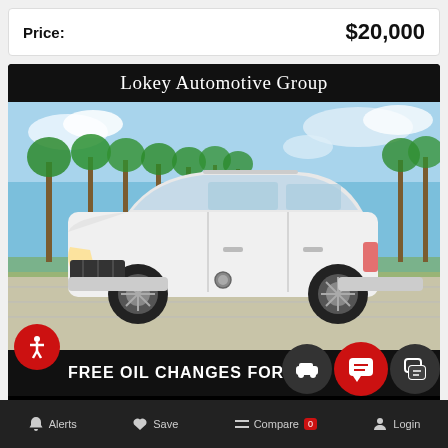Price:    $20,000
[Figure (photo): White Nissan Rogue SUV parked at Lokey Automotive Group dealership, with palm trees in background. Dealer banner reads 'Lokey Automotive Group' and bottom bar reads 'FREE OIL CHANGES FOR LIFE'. Accessibility, chat, and car icons overlaid. UI overlay with Alerts, Save, Compare, and Login navigation buttons at bottom.]